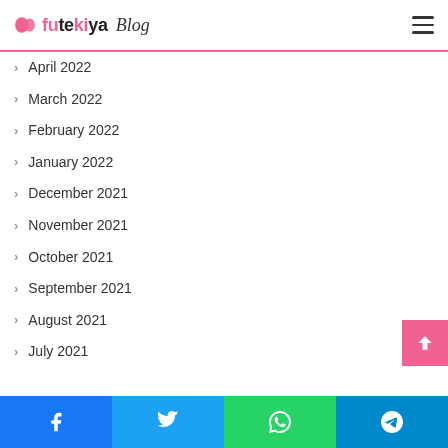futekiya Blog
April 2022
March 2022
February 2022
January 2022
December 2021
November 2021
October 2021
September 2021
August 2021
July 2021
June 2021
May 2021
Facebook | Twitter | WhatsApp | Telegram